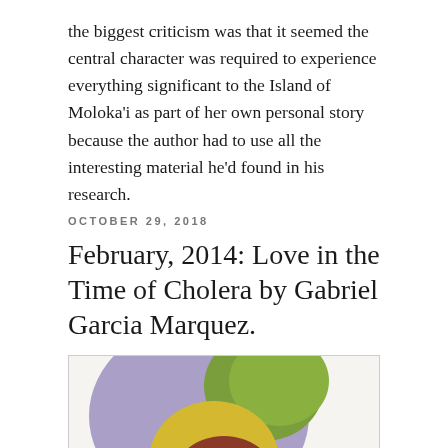the biggest criticism was that it seemed the central character was required to experience everything significant to the Island of Moloka'i as part of her own personal story because the author had to use all the interesting material he'd found in his research.
OCTOBER 29, 2018
February, 2014: Love in the Time of Cholera by Gabriel Garcia Marquez.
[Figure (illustration): Book cover of Love in the Time of Cholera showing a parrot with purple and yellow feathers against a white background, with a quote from The New York Times and red heart shapes at the bottom.]